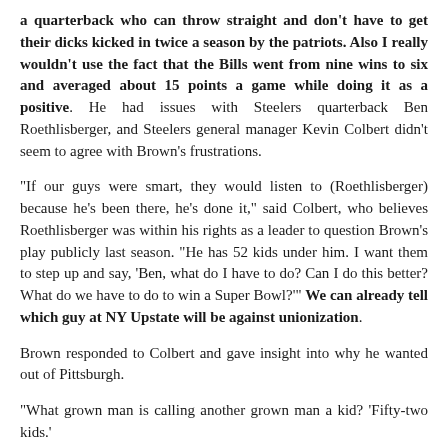a quarterback who can throw straight and don't have to get their dicks kicked in twice a season by the patriots. Also I really wouldn't use the fact that the Bills went from nine wins to six and averaged about 15 points a game while doing it as a positive. He had issues with Steelers quarterback Ben Roethlisberger, and Steelers general manager Kevin Colbert didn't seem to agree with Brown's frustrations.
“If our guys were smart, they would listen to (Roethlisberger) because he’s been there, he’s done it,” said Colbert, who believes Roethlisberger was within his rights as a leader to question Brown’s play publicly last season. “He has 52 kids under him. I want them to step up and say, ‘Ben, what do I have to do? Can I do this better? What do we have to do to win a Super Bowl?’” We can already tell which guy at NY Upstate will be against unionization.
Brown responded to Colbert and gave insight into why he wanted out of Pittsburgh.
“What grown man is calling another grown man a kid? ‘Fifty-two kids.’